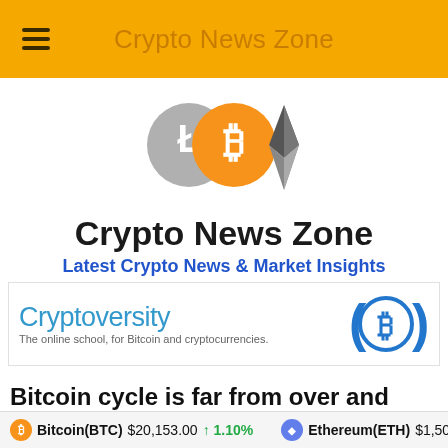Crypto News Zone
[Figure (logo): Three overlapping cryptocurrency coin logos: Litecoin (grey), Bitcoin (orange), and Ethereum (dark triangle diamond shape)]
Crypto News Zone
Latest Crypto News & Market Insights
[Figure (logo): Cryptoversity advertisement logo with blue Bitcoin symbol circle on right. Text: 'Cryptoversity' and 'The online school, for Bitcoin and cryptocurrencies.']
Bitcoin cycle is far from over and miners
Bitcoin(BTC) $20,153.00 ↑ 1.10%   Ethereum(ETH) $1,508.61 ↑